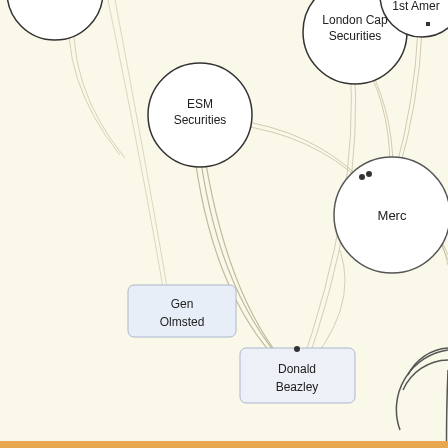[Figure (network-graph): Network graph showing financial entities as nodes connected by directed edges. Visible nodes: London Cap Securities (top center), ESM Securities (center-left), 1st Amer (top right, partial), Merc (right-center), Gen Olmsted (lower-left, light blue), Donald Beazley (lower-center, light blue), and partial circles at top-left and right edge. Multiple curved edges connect the nodes.]